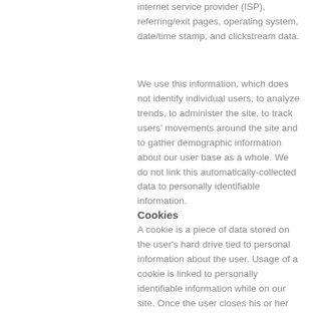internet service provider (ISP), referring/exit pages, operating system, date/time stamp, and clickstream data.
We use this information, which does not identify individual users, to analyze trends, to administer the site, to track users' movements around the site and to gather demographic information about our user base as a whole. We do not link this automatically-collected data to personally identifiable information.
Cookies
A cookie is a piece of data stored on the user's hard drive tied to personal information about the user. Usage of a cookie is linked to personally identifiable information while on our site. Once the user closes his or her browser, the cookie simply